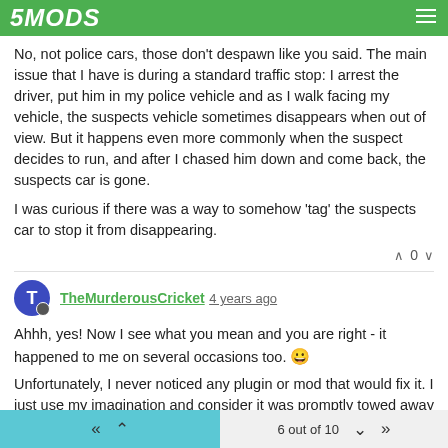5MODS
No, not police cars, those don't despawn like you said. The main issue that I have is during a standard traffic stop: I arrest the driver, put him in my police vehicle and as I walk facing my vehicle, the suspects vehicle sometimes disappears when out of view. But it happens even more commonly when the suspect decides to run, and after I chased him down and come back, the suspects car is gone.
I was curious if there was a way to somehow 'tag' the suspects car to stop it from disappearing.
∧ 0 ∨
TheMurderousCricket 4 years ago
Ahhh, yes! Now I see what you mean and you are right - it happened to me on several occasions too. 😀
Unfortunately, I never noticed any plugin or mod that would fix it. I just use my imagination and consider it was promptly towed away to an impound. 😉 But why would you need such a vehicle to stay on the map anyway?
6 out of 10